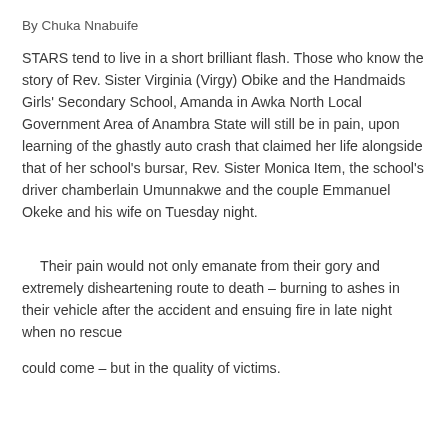By Chuka Nnabuife
STARS tend to live in a short brilliant flash. Those who know the story of Rev. Sister Virginia (Virgy) Obike and the Handmaids Girls' Secondary School, Amanda in Awka North Local Government Area of Anambra State will still be in pain, upon learning of the ghastly auto crash that claimed her life alongside that of her school's bursar, Rev. Sister Monica Item, the school's driver chamberlain Umunnakwe and the couple Emmanuel Okeke and his wife on Tuesday night.
Their pain would not only emanate from their gory and extremely disheartening route to death – burning to ashes in their vehicle after the accident and ensuing fire in late night when no rescue
could come – but in the quality of victims.